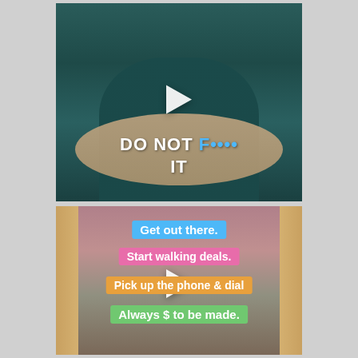[Figure (screenshot): Social media video thumbnail showing a man in a dark teal t-shirt with hands clasped together. White play button overlay. Text overlay reads: DO NOT F*** IT]
[Figure (screenshot): Social media video thumbnail showing a wooden closet/door frame interior with pink walls. White play button overlay. Text overlays read: Get out there. / Start walking deals. / Pick up the phone & dial / Always $ to be made.]